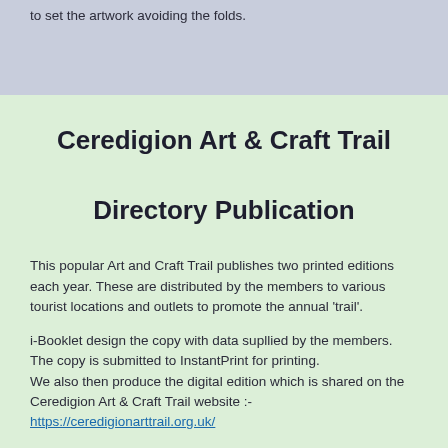to set the artwork avoiding the folds.
Ceredigion Art & Craft Trail Directory Publication
This popular Art and Craft Trail publishes two printed editions each year. These are distributed by the members to various tourist locations and outlets to promote the annual 'trail'.
i-Booklet design the copy with data supllied by the members. The copy is submitted to InstantPrint for printing. We also then produce the digital edition which is shared on the Ceredigion Art & Craft Trail website :- https://ceredigionarttrail.org.uk/